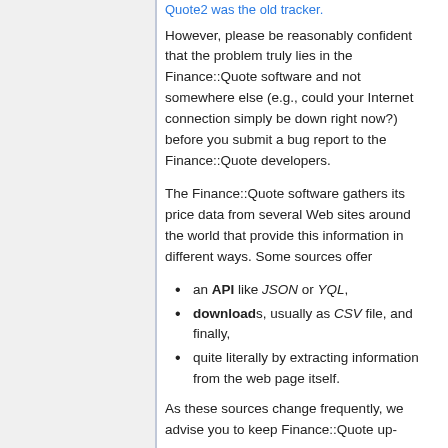Quote2 was the old tracker.
However, please be reasonably confident that the problem truly lies in the Finance::Quote software and not somewhere else (e.g., could your Internet connection simply be down right now?) before you submit a bug report to the Finance::Quote developers.
The Finance::Quote software gathers its price data from several Web sites around the world that provide this information in different ways. Some sources offer
an API like JSON or YQL,
downloads, usually as CSV file, and finally,
quite literally by extracting information from the web page itself.
As these sources change frequently, we advise you to keep Finance::Quote up-